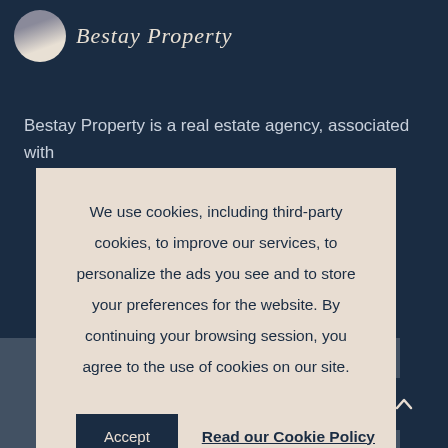Bestay Property
Bestay Property is a real estate agency, associated with people from all garia.
We use cookies, including third-party cookies, to improve our services, to personalize the ads you see and to store your preferences for the website. By continuing your browsing session, you agree to the use of cookies on our site.
Accept
Read our Cookie Policy